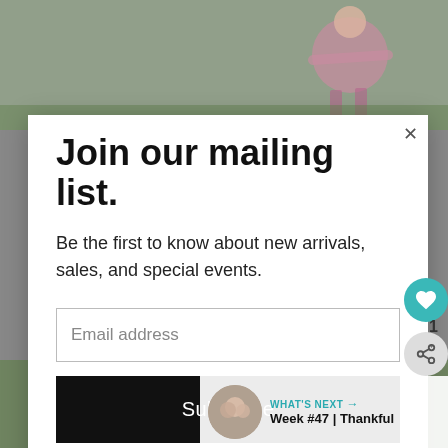[Figure (photo): Child kicking a soccer ball on a grass field, wearing a pink outfit]
[Figure (photo): Young person outdoors in front of trees, looking at camera]
Join our mailing list.
Be the first to know about new arrivals, sales, and special events.
Email address
Subscribe
WHAT'S NEXT → Week #47 | Thankful